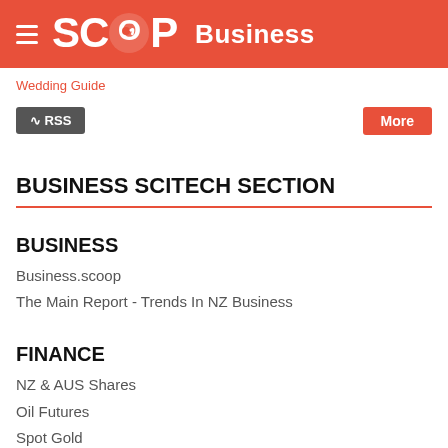SCOOP Business
Wedding Guide
RSS   More
BUSINESS SCITECH SECTION
BUSINESS
Business.scoop
The Main Report - Trends In NZ Business
FINANCE
NZ & AUS Shares
Oil Futures
Spot Gold